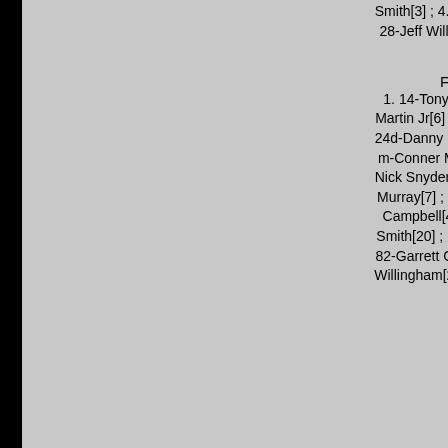Smith[3] ; 4. 45-Terry Witherspoon[7] ; 5. 34-Darren Orth[... 28-Jeff Willingham[5] ; 7. 16B-Max Stambaugh[6]... Agin[8]
FireAde A-Main - (25 Laps)
1. 14-Tony Stewart[1] ; 2. m1-Mark Smith[8] ; 3. Martin Jr[6] ; 4. 3a-AJ Maddox[10] ; 5. 14c-Tyler C... 24d-Danny Sams III[11] ; 7. 22G-Johnny Gilbertso... m-Conner Morrell[2] ; 9. 5 Barger-Justin Barger[1... Nick Snyder[21] ; 11. 43-Terry Witherspoon[22] ; 1... Murray[7] ; 13. 18j-RJ Jacobs[19] ; 14. 5 Campbe... Campbell[4] ; 15. 14 blue-Jordon Mallett[5] ; 16.... Smith[20] ; 17. 4-Danny Smith[15] ; 18. 3-Todd Gr... 82-Garrett Green[14] ; 20. 83 Ruel-Mark Ruel Jr[3]... Willingham[23] ; 22. 10-Terry Gray[18] ; 23. 44-Tre...
DNS
36 Tim Perry
34 Darren Orth
43T Tanner Witherspoon
83 Bob Auld
16B Ricky Peterson
33 Joe Larkin
38 Tony Agin
66 Chase Dunham